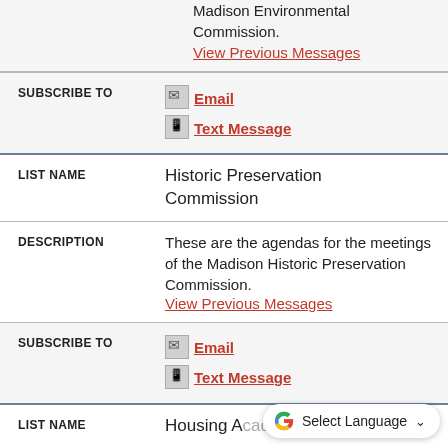Madison Environmental Commission. View Previous Messages
SUBSCRIBE TO Email Text Message
LIST NAME: Historic Preservation Commission
DESCRIPTION: These are the agendas for the meetings of the Madison Historic Preservation Commission. View Previous Messages
SUBSCRIBE TO Email Text Message
LIST NAME: Housing Academy